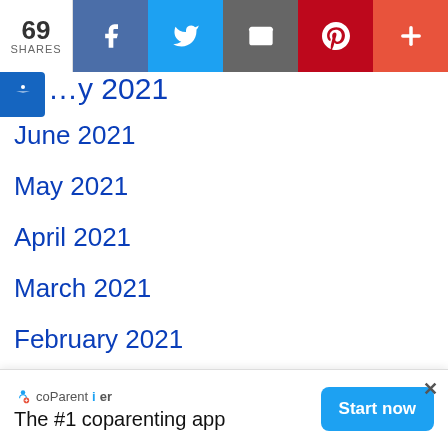69 SHARES | Facebook | Twitter | Email | Pinterest | More
July 2021
June 2021
May 2021
April 2021
March 2021
February 2021
January 2021
December 2020
November 2020
October 2020
September 2020
August 2020
The #1 coparenting app | Start now